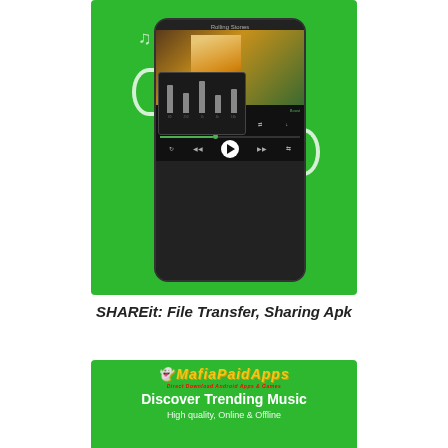[Figure (screenshot): Mobile music player app screenshot on green background showing album art of a blonde woman, an equalizer popup, playback controls, and progress bar. Headphone decorations visible.]
SHAREit: File Transfer, Sharing Apk
[Figure (screenshot): MafiaPaidApps branded screenshot with green background showing logo and text: 'Discover Trending Music' and 'High quality, Online & Offline']